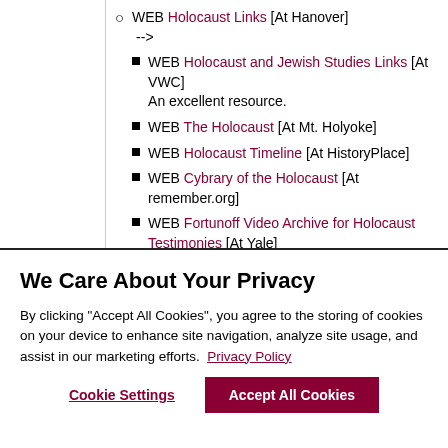WEB Holocaust Links [At Hanover] --> WEB Holocaust and Jewish Studies Links [At VWC] An excellent resource. WEB The Holocaust [At Mt. Holyoke] WEB Holocaust Timeline [At HistoryPlace] WEB Cybrary of the Holocaust [At remember.org] WEB Fortunoff Video Archive for Holocaust Testimonies [At Yale] A collection of over 3,700 videotaped interviews with witnesses and survivors of the Holocaust.
We Care About Your Privacy
By clicking "Accept All Cookies", you agree to the storing of cookies on your device to enhance site navigation, analyze site usage, and assist in our marketing efforts.  Privacy Policy